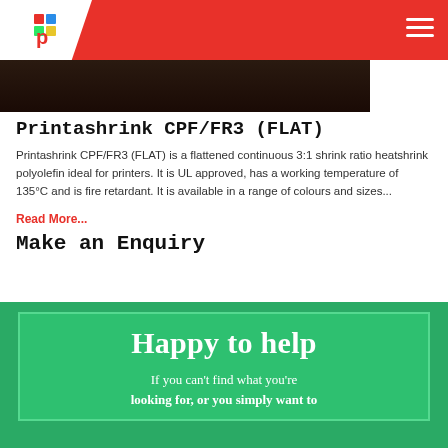Printashrink logo and navigation header
[Figure (photo): Dark brown/black photo strip across top of page]
Printashrink CPF/FR3 (FLAT)
Printashrink CPF/FR3 (FLAT) is a flattened continuous 3:1 shrink ratio heatshrink polyolefin ideal for printers. It is UL approved, has a working temperature of 135°C and is fire retardant. It is available in a range of colours and sizes...
Read More...
Make an Enquiry
[Figure (illustration): Green banner section with text 'Happy to help' and 'If you can't find what you're looking for, or you simply want to']